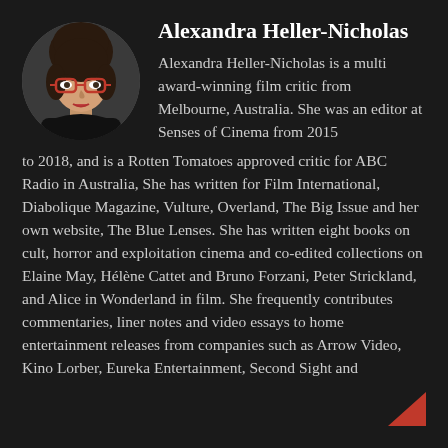[Figure (photo): Circular profile photo of Alexandra Heller-Nicholas, a woman with dark hair wearing red-framed glasses and a black top]
Alexandra Heller-Nicholas
Alexandra Heller-Nicholas is a multi award-winning film critic from Melbourne, Australia. She was an editor at Senses of Cinema from 2015 to 2018, and is a Rotten Tomatoes approved critic for ABC Radio in Australia, She has written for Film International, Diabolique Magazine, Vulture, Overland, The Big Issue and her own website, The Blue Lenses. She has written eight books on cult, horror and exploitation cinema and co-edited collections on Elaine May, Hélène Cattet and Bruno Forzani, Peter Strickland, and Alice in Wonderland in film. She frequently contributes commentaries, liner notes and video essays to home entertainment releases from companies such as Arrow Video, Kino Lorber, Eureka Entertainment, Second Sight and